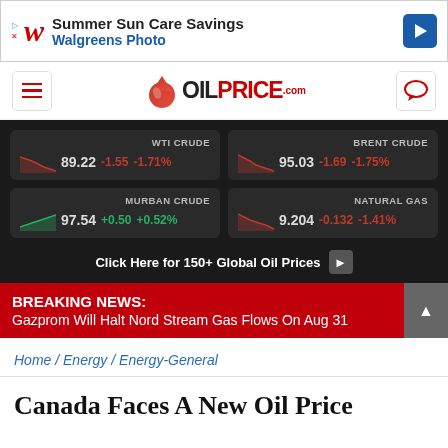[Figure (other): Walgreens Photo advertisement banner: Summer Sun Care Savings with Walgreens W logo and blue arrow icon]
OILPrice.com
[Figure (infographic): Oil price ticker panel showing WTI CRUDE 89.22 -1.55 -1.71%, BRENT CRUDE 95.03 -1.69 -1.75%, MURBAN CRUDE 97.54 +0.50 +0.52%, NATURAL GAS 9.204 -0.132 -1.41%, with mini sparkline charts. Button: Click Here for 150+ Global Oil Prices]
BREAKING NEWS: Gazprom Will Halt Nord Stream Gas Flows On Aug 31
Home / Energy / Energy-General
Canada Faces A New Oil Price